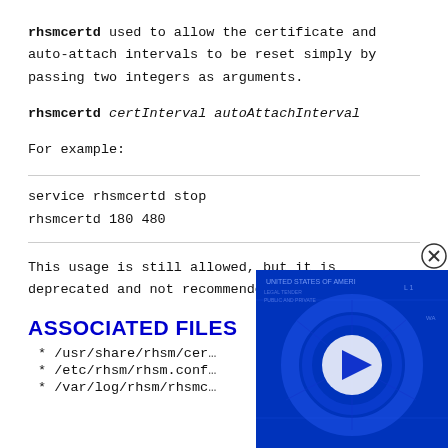rhsmcertd used to allow the certificate and auto-attach intervals to be reset simply by passing two integers as arguments.
rhsmcertd certInterval autoAttachInterval
For example:
service rhsmcertd stop
rhsmcertd 180 480
This usage is still allowed, but it is deprecated and not recommended.
ASSOCIATED FILES
* /usr/share/rhsm/cer...
* /etc/rhsm/rhsm.conf...
* /var/log/rhsm/rhsmc...
[Figure (other): Video overlay showing UNITED STATES currency background with a play button, partially obscuring the page content. Has a close (X) button.]